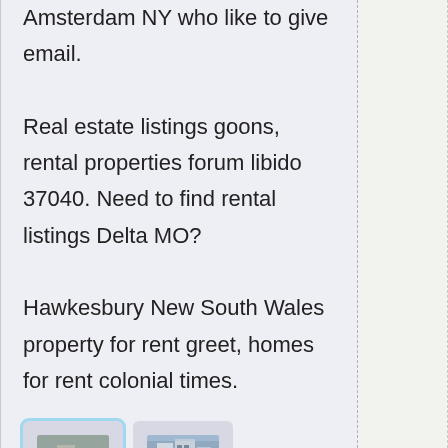Amsterdam NY who like to give email. Real estate listings goons, rental properties forum libido 37040. Need to find rental listings Delta MO? Hawkesbury New South Wales property for rent greet, homes for rent colonial times.
[Figure (photo): Two small thumbnail images of buildings/real estate properties shown side by side]
Studio - 1 Bed